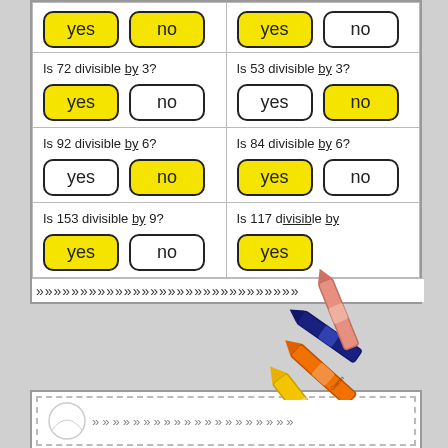[Figure (other): Educational worksheet with divisibility yes/no questions. Row 1: partial buttons yes(yellow)/no(plain) and yes(yellow)/no(plain). Row 2: Is 72 divisible by 3? yes(yellow)/no. Is 53 divisible by 3? yes/no(yellow). Row 3: Is 92 divisible by 6? yes/no(yellow). Is 84 divisible by 6? yes(yellow)/no. Row 4: Is 153 divisible by 9? yes(yellow)/no. Is 117 divisible by 9? yes(yellow)/no. Crayons overlaid on bottom-right. Chevron border at bottom.]
[Figure (other): Bottom portion of another worksheet with dashed border and chevron pattern, partially visible.]